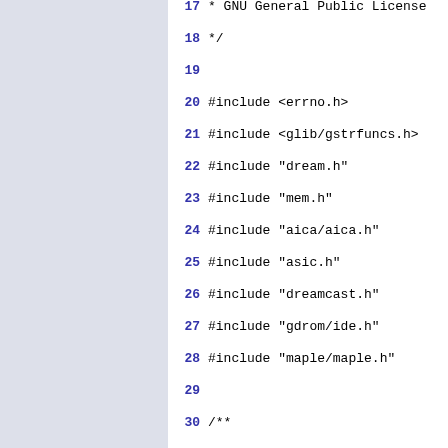17  * GNU General Public License
18  */
19
20  #include <errno.h>
21  #include <glib/gstrfuncs.h>
22  #include "dream.h"
23  #include "mem.h"
24  #include "aica/aica.h"
25  #include "asic.h"
26  #include "dreamcast.h"
27  #include "gdrom/ide.h"
28  #include "maple/maple.h"
29
30  /**
31  * Current state of the DC vi
32  */